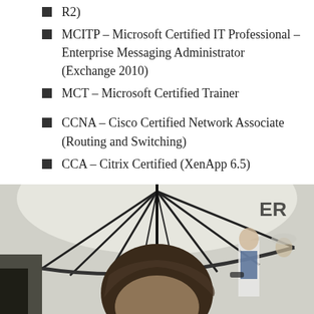R2)
MCITP – Microsoft Certified IT Professional – Enterprise Messaging Administrator (Exchange 2010)
MCT – Microsoft Certified Trainer
CCNA – Cisco Certified Network Associate (Routing and Switching)
CCA – Citrix Certified (XenApp 6.5)
ITIL – V3
[Figure (photo): Outdoor photo of a person with short dark hair in the foreground, with a large black and white umbrella visible overhead, and other people visible in the background at what appears to be an outdoor event.]